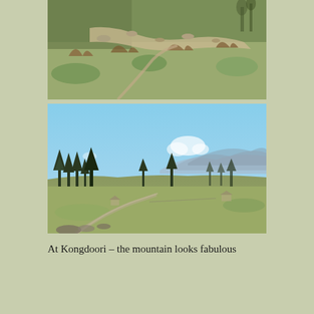[Figure (photo): Aerial or elevated view of a rocky, grassy hillside with scattered shrubs, stones, and dry brown vegetation patches against green grass]
[Figure (photo): Wide landscape view of Kongdoori meadow with open grassland, tall cypress-like trees in the middle distance, hazy blue mountains in the background under a clear blue sky, and a small stream or path in the foreground]
At Kongdoori – the mountain looks fabulous